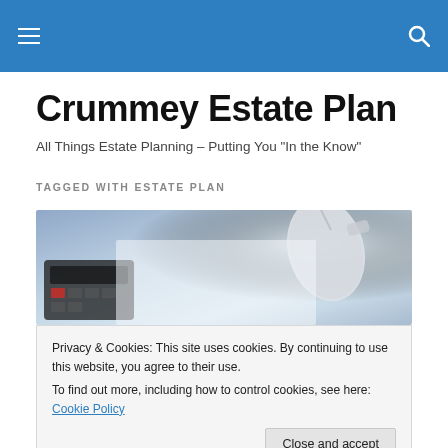Crummey Estate Plan — navigation header bar
Crummey Estate Plan
All Things Estate Planning – Putting You "In the Know"
TAGGED WITH ESTATE PLAN
[Figure (photo): Close-up photo of a calculator and a computer mouse on a light blue surface, suggesting financial/estate planning context.]
Privacy & Cookies: This site uses cookies. By continuing to use this website, you agree to their use.
To find out more, including how to control cookies, see here: Cookie Policy
[Figure (photo): Bottom strip showing partial text or graphic related to estate planning.]